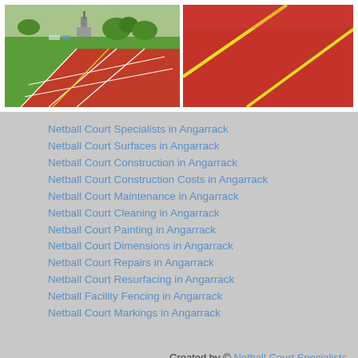[Figure (photo): Aerial view of a red and green outdoor netball/tennis court with white line markings, with a church and trees visible in the background]
[Figure (photo): Close-up view of a red sports court surface with yellow line markings]
Netball Court Specialists in Angarrack
Netball Court Surfaces in Angarrack
Netball Court Construction in Angarrack
Netball Court Construction Costs in Angarrack
Netball Court Maintenance in Angarrack
Netball Court Cleaning in Angarrack
Netball Court Painting in Angarrack
Netball Court Dimensions in Angarrack
Netball Court Repairs in Angarrack
Netball Court Resurfacing in Angarrack
Netball Facility Fencing in Angarrack
Netball Court Markings in Angarrack
Created by © Netball Court Specialists